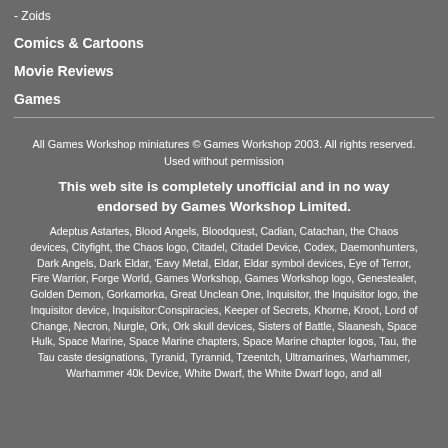- Zoids
Comics & Cartoons
Movie Reviews
Games
All Games Workshop miniatures © Games Workshop 2003. All rights reserved. Used without permission
This web site is completely unofficial and in no way endorsed by Games Workshop Limited.
Adeptus Astartes, Blood Angels, Bloodquest, Cadian, Catachan, the Chaos devices, Cityfight, the Chaos logo, Citadel, Citadel Device, Codex, Daemonhunters, Dark Angels, Dark Eldar, 'Eavy Metal, Eldar, Eldar symbol devices, Eye of Terror, Fire Warrior, Forge World, Games Workshop, Games Workshop logo, Genestealer, Golden Demon, Gorkamorka, Great Unclean One, Inquisitor, the Inquisitor logo, the Inquisitor device, Inquisitor:Conspiracies, Keeper of Secrets, Khorne, Kroot, Lord of Change, Necron, Nurgle, Ork, Ork skull devices, Sisters of Battle, Slaanesh, Space Hulk, Space Marine, Space Marine chapters, Space Marine chapter logos, Tau, the Tau caste designations, Tyranid, Tyrannid, Tzeentch, Ultramarines, Warhammer, Warhammer 40k Device, White Dwarf, the White Dwarf logo, and all associated marks, names, races, race insignia, characters, vehicles, locations, units, illustrations and images from the Warhammer world are either ®, TM and/or © Games Workshop Ltd 2000-2003, variably registered in the UK and other countries around the world. Used without permission. No challenge to their status intended. All Rights Reserved to their respective owners.